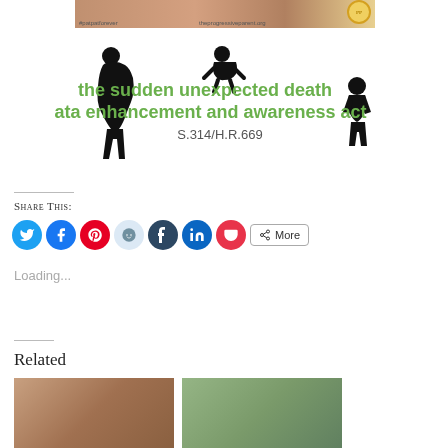[Figure (photo): Top banner image showing people with text '#patpatforever' and 'theprogressiveparent.org', with a circular logo on the right]
[Figure (infographic): Infographic graphic about 'the sudden unexpected death data enhancement and awareness act S.314/H.R.669' with silhouettes of a pregnant woman, crawling baby, and child]
Share this:
Loading...
Related